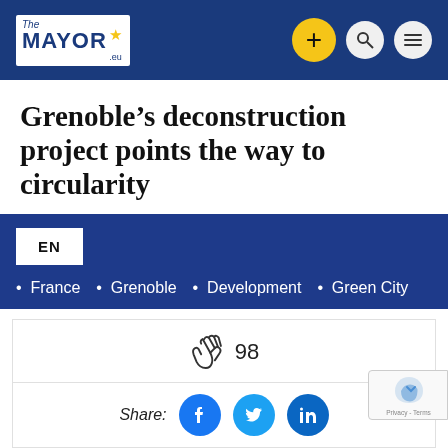The MAYOR .eu — navigation header with logo, plus button, search, and menu icons
Grenoble’s deconstruction project points the way to circularity
EN
• France • Grenoble • Development • Green City
98 (clap count)
Share: Facebook, Twitter, LinkedIn